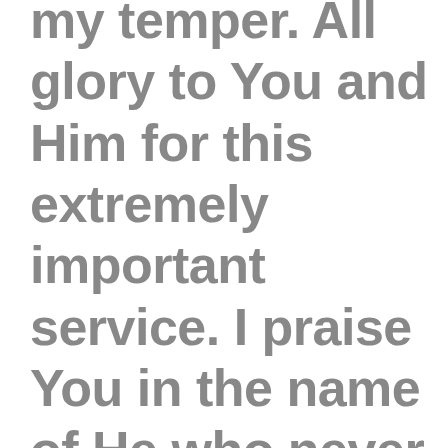my temper. All glory to You and Him for this extremely important service. I praise You in the name of He who never allowed satan to control Him, Jesus Christ Amen